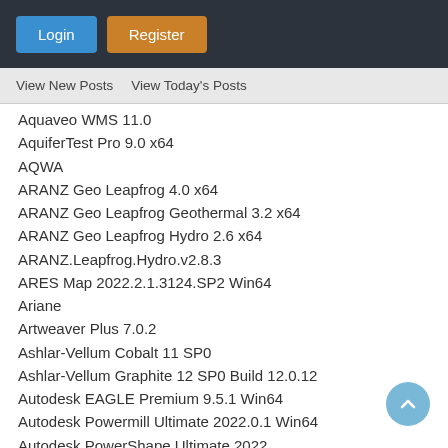Login  Register
View New Posts   View Today's Posts
Aquaveo WMS 11.0
AquiferTest Pro 9.0 x64
AQWA
ARANZ Geo Leapfrog 4.0 x64
ARANZ Geo Leapfrog Geothermal 3.2 x64
ARANZ Geo Leapfrog Hydro 2.6 x64
ARANZ.Leapfrog.Hydro.v2.8.3
ARES Map 2022.2.1.3124.SP2 Win64
Ariane
Artweaver Plus 7.0.2
Ashlar-Vellum Cobalt 11 SP0
Ashlar-Vellum Graphite 12 SP0 Build 12.0.12
Autodesk EAGLE Premium 9.5.1 Win64
Autodesk Powermill Ultimate 2022.0.1 Win64
Autodesk.PowerShape.Ultimate.2022
AutoForm Forming R8
Avenza.Geographic.Imager.for.Adobe.Photoshop.6.0
Avenza.MAPublisher.for.Adobe.Illustrator.10.4